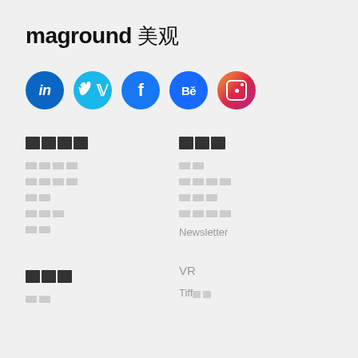maground 美观
[Figure (infographic): Row of 5 social media icon circles: LinkedIn (blue), Vimeo (light blue), Facebook (blue), Behance (dark blue), Instagram (orange)]
[Figure (infographic): Navigation menu with two columns of redacted/blurred text links. Left column header and items, right column header and items including Newsletter text visible. Second section with left column header and right column showing VR text, and Tiff partial text.]